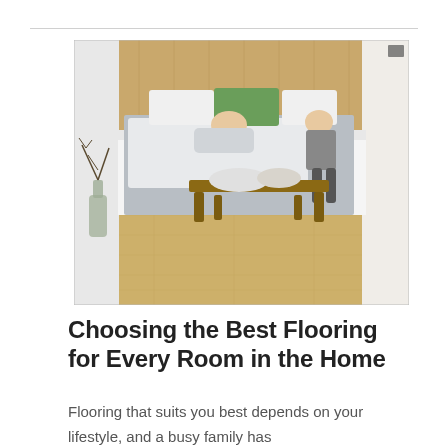[Figure (photo): Bedroom scene with a woman lying on a white bed and a child sitting on the edge, with light wood laminate flooring visible. A rustic wooden bench sits at the foot of the bed with pillows on it. A glass vase with branches is on the floor to the left.]
Choosing the Best Flooring for Every Room in the Home
Flooring that suits you best depends on your lifestyle, and a busy family has